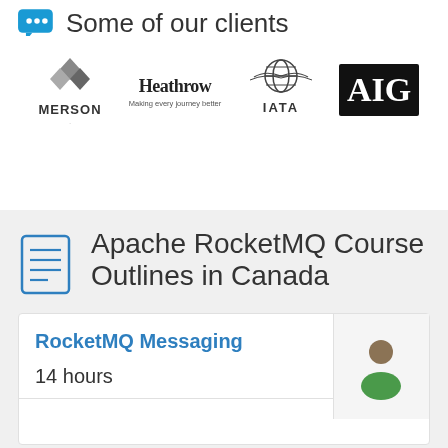Some of our clients
[Figure (logo): MERSON logo - stylized M with diamond shapes above]
[Figure (logo): Heathrow logo - Making every journey better]
[Figure (logo): IATA logo - globe with wings]
[Figure (logo): AIG logo - white text on black background]
Apache RocketMQ Course Outlines in Canada
RocketMQ Messaging
14 hours